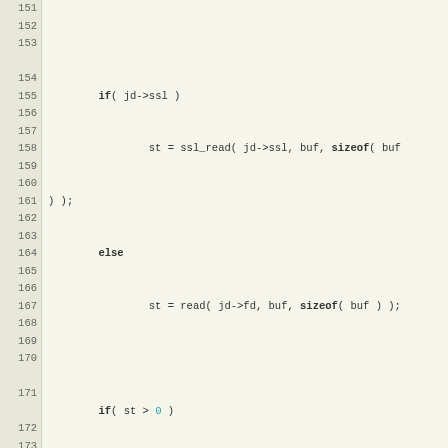[Figure (screenshot): Source code listing in C, lines 151-178, showing jabber/XMPP connection handling code with SSL read, XML parsing, handler execution, and stream restart logic.]